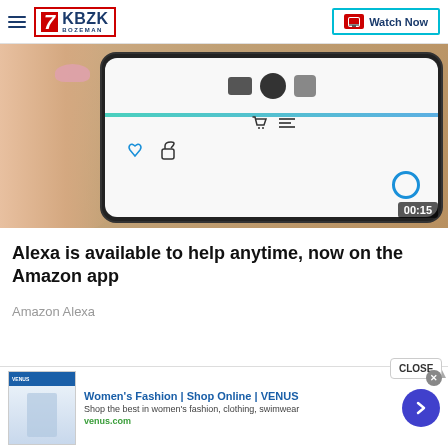KBZK BOZEMAN | Watch Now
[Figure (screenshot): Video thumbnail showing a hand holding a smartphone displaying the Amazon app with Alexa interface and app icons. Timestamp 00:15 shown in bottom right corner.]
Alexa is available to help anytime, now on the Amazon app
Amazon Alexa
[Figure (other): Advertisement for Women's Fashion | Shop Online | VENUS. Shows a thumbnail of a fashion website, text: Shop the best in women's fashion, clothing, swimwear. Domain: venus.com. Blue arrow button on the right.]